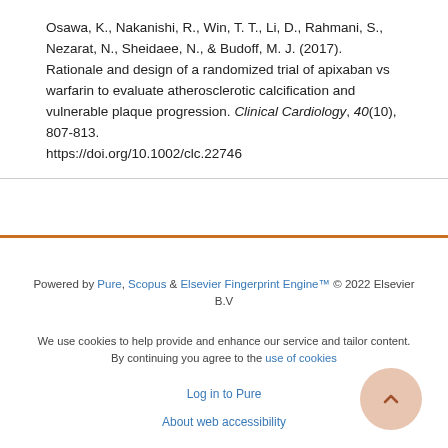Osawa, K., Nakanishi, R., Win, T. T., Li, D., Rahmani, S., Nezarat, N., Sheidaee, N., & Budoff, M. J. (2017). Rationale and design of a randomized trial of apixaban vs warfarin to evaluate atherosclerotic calcification and vulnerable plaque progression. Clinical Cardiology, 40(10), 807-813. https://doi.org/10.1002/clc.22746
Powered by Pure, Scopus & Elsevier Fingerprint Engine™ © 2022 Elsevier B.V

We use cookies to help provide and enhance our service and tailor content. By continuing you agree to the use of cookies

Log in to Pure

About web accessibility